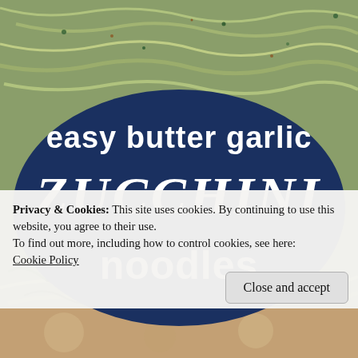[Figure (photo): Close-up photo of zucchini noodles (zoodles) with butter garlic seasoning, herbs, and spices. The background shows the spiralized green zucchini noodles filling the entire top portion of the image.]
easy butter garlic ZUCCHINI noodles
Privacy & Cookies: This site uses cookies. By continuing to use this website, you agree to their use.
To find out more, including how to control cookies, see here: Cookie Policy
Close and accept
[Figure (photo): Bottom strip showing another food photo, partially visible at the bottom of the page.]